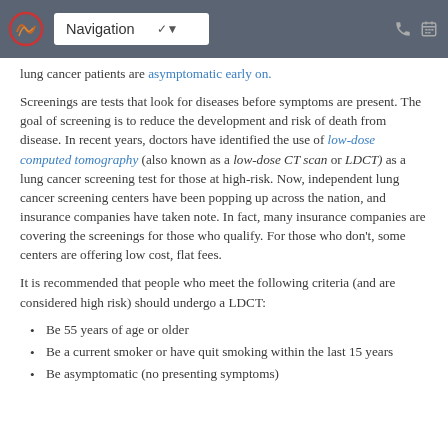Navigation
lung cancer patients are asymptomatic early on.
Screenings are tests that look for diseases before symptoms are present. The goal of screening is to reduce the development and risk of death from disease. In recent years, doctors have identified the use of low-dose computed tomography (also known as a low-dose CT scan or LDCT) as a lung cancer screening test for those at high-risk. Now, independent lung cancer screening centers have been popping up across the nation, and insurance companies have taken note. In fact, many insurance companies are covering the screenings for those who qualify. For those who don't, some centers are offering low cost, flat fees.
It is recommended that people who meet the following criteria (and are considered high risk) should undergo a LDCT:
Be 55 years of age or older
Be a current smoker or have quit smoking within the last 15 years
Be asymptomatic (no presenting symptoms)